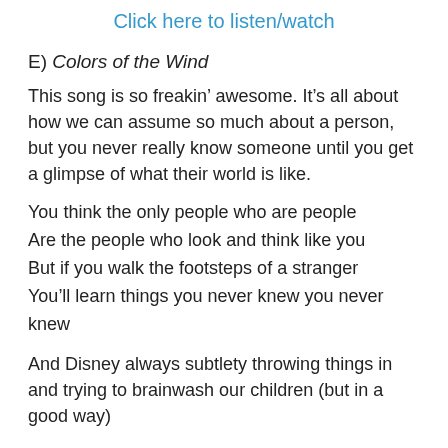Click here to listen/watch
E) Colors of the Wind
This song is so freakin’ awesome. It’s all about how we can assume so much about a person, but you never really know someone until you get a glimpse of what their world is like.
You think the only people who are people
Are the people who look and think like you
But if you walk the footsteps of a stranger
You’ll learn things you never knew you never knew
And Disney always subtlety throwing things in and trying to brainwash our children (but in a good way)